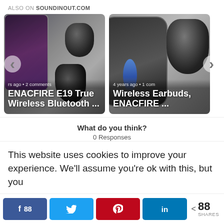ALSO ON SOUNDINOUT.COM
[Figure (photo): Two product card thumbnails showing ENACFIRE E19 True Wireless Bluetooth earbuds and Wireless Earbuds ENACFIRE, with navigation arrows on left and right]
What do you think?
0 Responses
This website uses cookies to improve your experience. We'll assume you're ok with this, but you
f 88  [Twitter icon]  [Pinterest icon]  in  < 88 SHARES